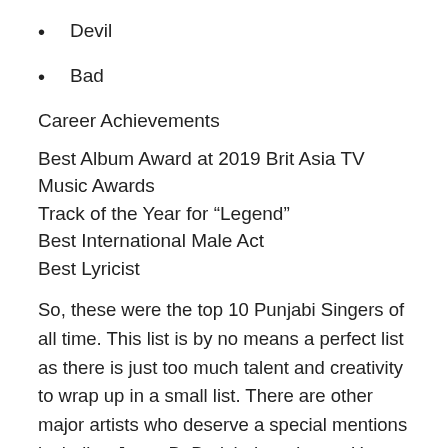Devil
Bad
Career Achievements
Best Album Award at 2019 Brit Asia TV Music Awards
Track of the Year for “Legend”
Best International Male Act
Best Lyricist
So, these were the top 10 Punjabi Singers of all time. This list is by no means a perfect list as there is just too much talent and creativity to wrap up in a small list. There are other major artists who deserve a special mentions including Jazzy B, Badshah and even Honey Singh who apart from all